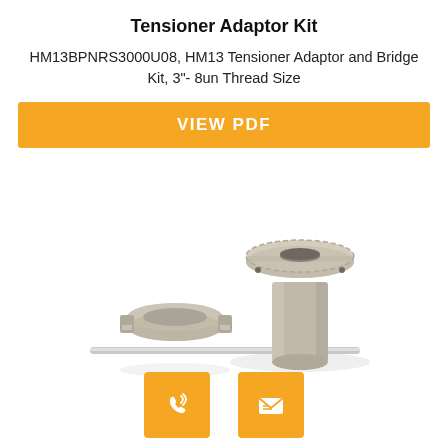Tensioner Adaptor Kit
HM13BPNRS3000U08, HM13 Tensioner Adaptor and Bridge Kit, 3"- 8un Thread Size
[Figure (other): Orange button labeled VIEW PDF]
[Figure (photo): Photo of tensioner adaptor kit components: a cylindrical adaptor tool with flanged top and knurled grip, a ring/bridge collar component, and a straight metal rod/pin, all in silver/steel finish on white background.]
[Figure (infographic): Two orange square icon buttons at bottom: phone/call icon and envelope/email icon]